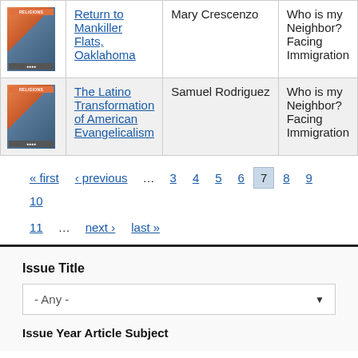|  | Title | Author | Topic |
| --- | --- | --- | --- |
| [book image] | Return to Mankiller Flats, Oaklahoma | Mary Crescenzo | Who is my Neighbor? Facing Immigration |
| [book image] | The Latino Transformation of American Evangelicalism | Samuel Rodriguez | Who is my Neighbor? Facing Immigration |
« first ‹ previous … 3 4 5 6 7 8 9 10 11 … next › last »
Issue Title
- Any -
Issue Year Article Subject